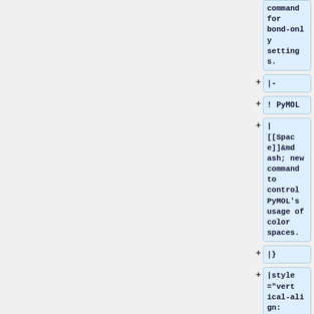command for bond-only settings.
|-
! PyMOL
| [[Space]]&mdash; new command to control PyMOL's usage of color spaces.
|}
|style="vertical-align: top; width: 45%||